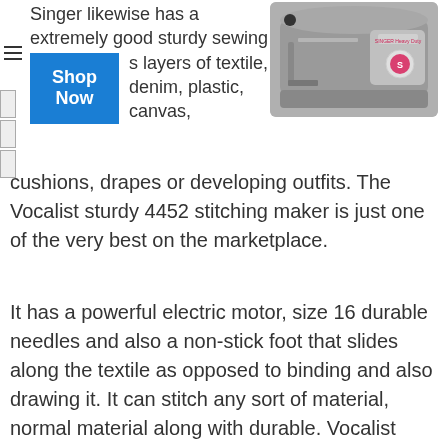Singer likewise has a extremely good sturdy sewing machine if you are sewing multiple layers of textile, denim, plastic, canvas,
[Figure (photo): Photo of a Singer Heavy Duty sewing machine, gray color with pink/red accent button]
cushions, drapes or developing outfits. The Vocalist sturdy 4452 stitching maker is just one of the very best on the marketplace.
It has a powerful electric motor, size 16 durable needles and also a non-stick foot that slides along the textile as opposed to binding and also drawing it. It can stitch any sort of material, normal material along with durable. Vocalist modern technology supplies a good stitching